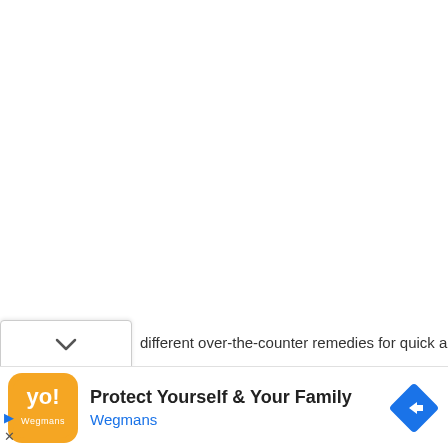different over-the-counter remedies for quick and fast
[Figure (screenshot): Advertisement banner for Wegmans: orange logo with stylized text, headline 'Protect Yourself & Your Family', subtitle 'Wegmans', blue navigation arrow icon on right side]